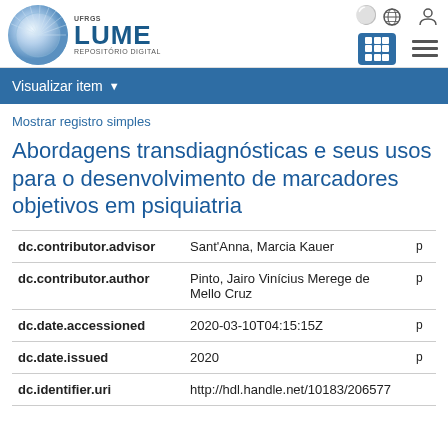[Figure (logo): LUME Repositório Digital logo with circular graphic and UFRGS text]
Visualizar item ▾
Mostrar registro simples
Abordagens transdiagnósticas e seus usos para o desenvolvimento de marcadores objetivos em psiquiatria
| Field | Value |  |
| --- | --- | --- |
| dc.contributor.advisor | Sant'Anna, Marcia Kauer | p |
| dc.contributor.author | Pinto, Jairo Vinícius Merege de Mello Cruz | p |
| dc.date.accessioned | 2020-03-10T04:15:15Z | p |
| dc.date.issued | 2020 | p |
| dc.identifier.uri | http://hdl.handle.net/10183/206577 |  |